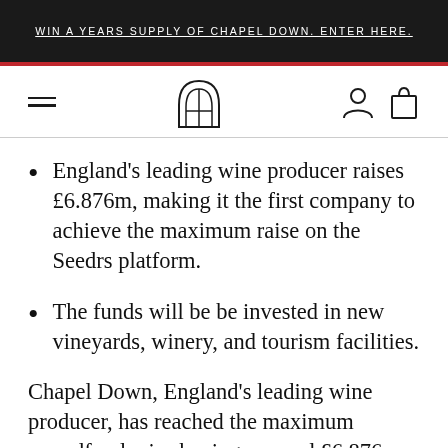WIN A YEARS SUPPLY OF CHAPEL DOWN. ENTER HERE.
[Figure (logo): Chapel Down website navigation bar with hamburger menu, arched window logo, user icon, and shopping bag icon]
England's leading wine producer raises £6.876m, making it the first company to achieve the maximum raise on the Seedrs platform.
The funds will be be invested in new vineyards, winery, and tourism facilities.
Chapel Down, England's leading wine producer, has reached the maximum crowdfund raise having secured £6.876m in